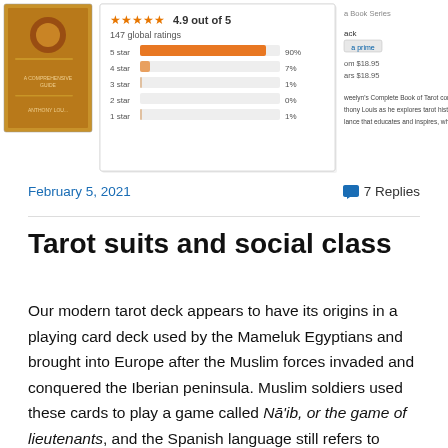[Figure (screenshot): Amazon product page screenshot showing book cover, star ratings (4.9 out of 5, 147 global ratings) with bar chart for 5-4-3-2-1 stars showing 90%, 7%, 1%, 0%, 1%, and partial right panel with book series, price info, and description snippet.]
February 5, 2021
7 Replies
Tarot suits and social class
Our modern tarot deck appears to have its origins in a playing card deck used by the Mameluk Egyptians and brought into Europe after the Muslim forces invaded and conquered the Iberian peninsula. Muslim soldiers used these cards to play a game called Nā'ib, or the game of lieutenants, and the Spanish language still refers to playing cards as naipes.